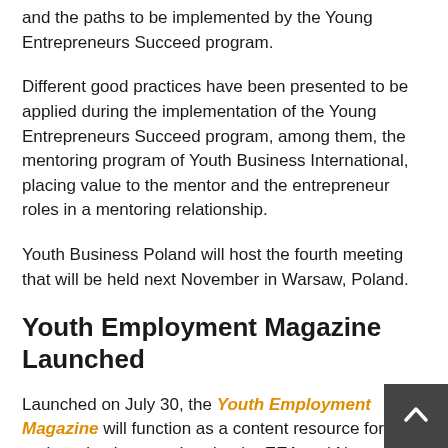and the paths to be implemented by the Young Entrepreneurs Succeed program.
Different good practices have been presented to be applied during the implementation of the Young Entrepreneurs Succeed program, among them, the mentoring program of Youth Business International, placing value to the mentor and the entrepreneur roles in a mentoring relationship.
Youth Business Poland will host the fourth meeting that will be held next November in Warsaw, Poland.
Youth Employment Magazine Launched
Launched on July 30, the Youth Employment Magazine will function as a content resource for all projects implemented under the EEA and Norway Grants Fund for Youth Employment. Its editorial team consists of experts implementing the projects themselves, who are regularly developing materials about the progress and results of each project. The platform is established